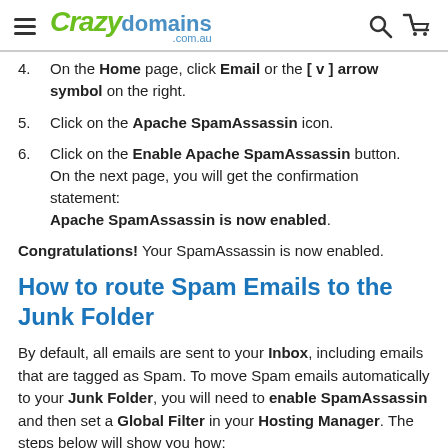Crazy domains .com.au
4. On the Home page, click Email or the [ v ] arrow symbol on the right.
5. Click on the Apache SpamAssassin icon.
6. Click on the Enable Apache SpamAssassin button. On the next page, you will get the confirmation statement: Apache SpamAssassin is now enabled.
Congratulations! Your SpamAssassin is now enabled.
How to route Spam Emails to the Junk Folder
By default, all emails are sent to your Inbox, including emails that are tagged as Spam. To move Spam emails automatically to your Junk Folder, you will need to enable SpamAssassin and then set a Global Filter in your Hosting Manager. The steps below will show you how: